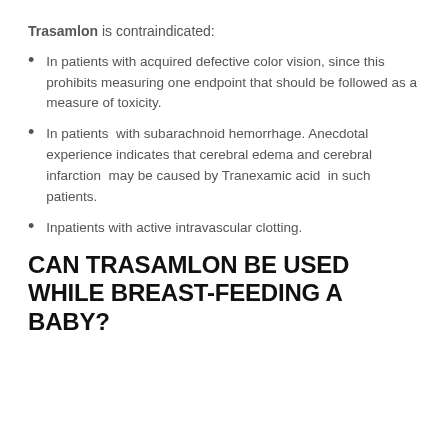Trasamlon is contraindicated:
In patients with acquired defective color vision, since this prohibits measuring one endpoint that should be followed as a measure of toxicity.
In patients  with subarachnoid hemorrhage. Anecdotal experience indicates that cerebral edema and cerebral infarction  may be caused by Tranexamic acid  in such patients.
Inpatients with active intravascular clotting.
CAN TRASAMLON BE USED WHILE BREAST-FEEDING A BABY?